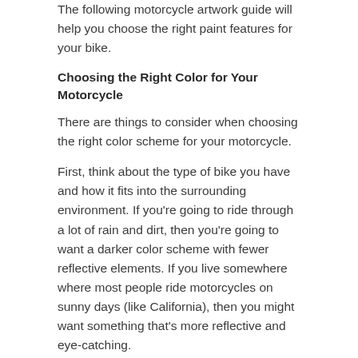The following motorcycle artwork guide will help you choose the right paint features for your bike.
Choosing the Right Color for Your Motorcycle
There are things to consider when choosing the right color scheme for your motorcycle.
First, think about the type of bike you have and how it fits into the surrounding environment. If you're going to ride through a lot of rain and dirt, then you're going to want a darker color scheme with fewer reflective elements. If you live somewhere where most people ride motorcycles on sunny days (like California), then you might want something that's more reflective and eye-catching.